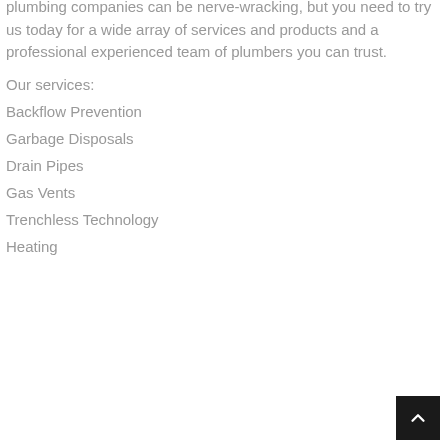plumbing companies can be nerve-wracking, but you need to try us today for a wide array of services and products and a professional experienced team of plumbers you can trust.
Our services:
Backflow Prevention
Garbage Disposals
Drain Pipes
Gas Vents
Trenchless Technology
Heating